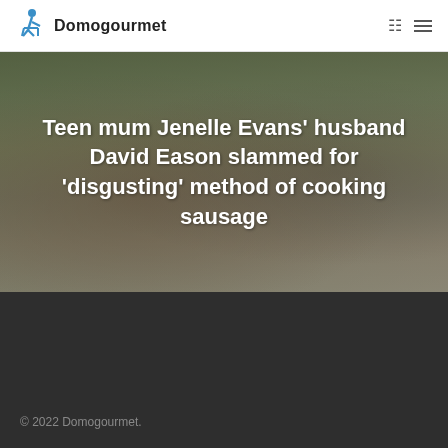Domogourmet
Teen mum Jenelle Evans' husband David Eason slammed for 'disgusting' method of cooking sausage
[Figure (photo): Background photo of two people — a woman with sunglasses sticking out her tongue and a bearded man behind her, with green foliage in background. The article headline is overlaid on the photo.]
© 2022 Domogourmet.